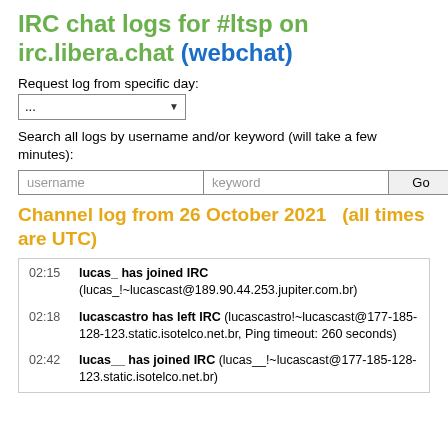IRC chat logs for #ltsp on irc.libera.chat (webchat)
Request log from specific day:
...
Search all logs by username and/or keyword (will take a few minutes):
Channel log from 26 October 2021   (all times are UTC)
02:15  lucas_ has joined IRC (lucas_!~lucascast@189.90.44.253.jupiter.com.br)
02:18  lucascastro has left IRC (lucascastro!~lucascast@177-185-128-123.static.isotelco.net.br, Ping timeout: 260 seconds)
02:42  lucas__ has joined IRC (lucas__!~lucascast@177-185-128-123.static.isotelco.net.br)